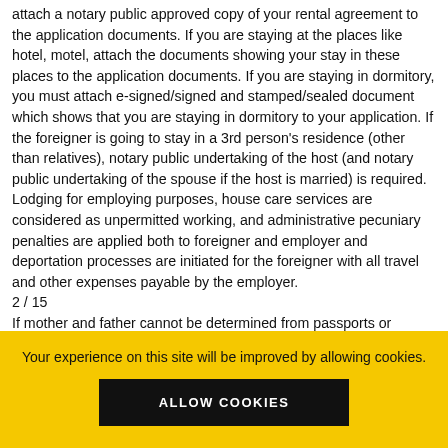attach a notary public approved copy of your rental agreement to the application documents. If you are staying at the places like hotel, motel, attach the documents showing your stay in these places to the application documents. If you are staying in dormitory, you must attach e-signed/signed and stamped/sealed document which shows that you are staying in dormitory to your application. If the foreigner is going to stay in a 3rd person's residence (other than relatives), notary public undertaking of the host (and notary public undertaking of the spouse if the host is married) is required. Lodging for employing purposes, house care services are considered as unpermitted working, and administrative pecuniary penalties are applied both to foreigner and employer and deportation processes are initiated for the foreigner with all travel and other expenses payable by the employer.
2 / 15
If mother and father cannot be determined from passports or passport substitute documents or national identity cards, a
Your experience on this site will be improved by allowing cookies.